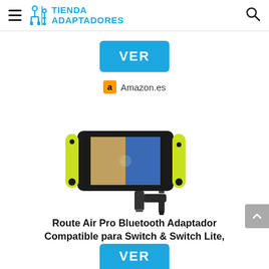TIENDA ADAPTADORES
VER
Amazon.es
[Figure (photo): Nintendo Switch console with yellow-green Joy-Con controllers, displaying a screen with game art, alongside a small Bluetooth audio transmitter dongle and a 3.5mm jack adapter.]
Route Air Pro Bluetooth Adaptador Compatible para Switch & Switch Lite, PS4/PC,...
VER